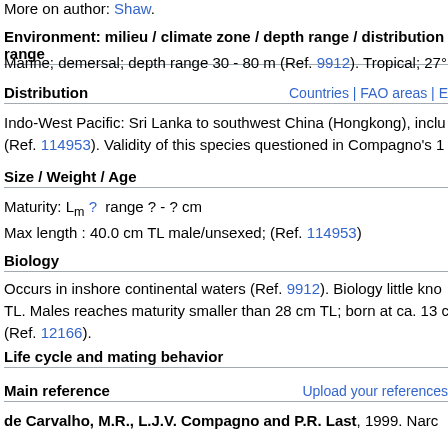More on author: Shaw.
Environment: milieu / climate zone / depth range / distribution range
Marine; demersal; depth range 30 - 80 m (Ref. 9912). Tropical; 27°
Distribution
Countries | FAO areas | E
Indo-West Pacific: Sri Lanka to southwest China (Hongkong), inclu (Ref. 114953). Validity of this species questioned in Compagno's 1
Size / Weight / Age
Maturity: Lm ?  range ? - ? cm
Max length : 40.0 cm TL male/unsexed; (Ref. 114953)
Biology
Occurs in inshore continental waters (Ref. 9912). Biology little kno TL. Males reaches maturity smaller than 28 cm TL; born at ca. 13 c (Ref. 12166).
Life cycle and mating behavior
Main reference
Upload your references
de Carvalho, M.R., L.J.V. Compagno and P.R. Last, 1999. Narc